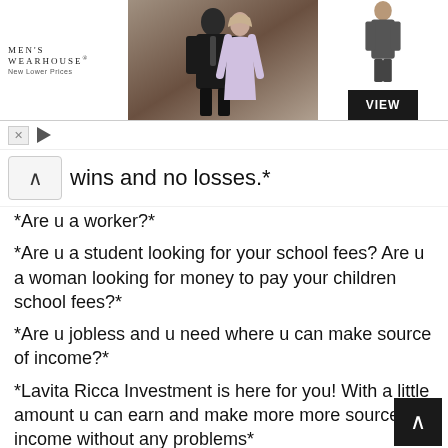[Figure (screenshot): Men's Wearhouse advertisement banner with couple in formalwear and a man in suit, VIEW button on right]
wins and no losses.*
*Are u a worker?*
*Are u a student looking for your school fees? Are u a woman looking for money to pay your children school fees?*
*Are u jobless and u need where u can make source of income?*
*Lavita Ricca Investment is here for you! With a little amount u can earn and make more more source of income without any problems*